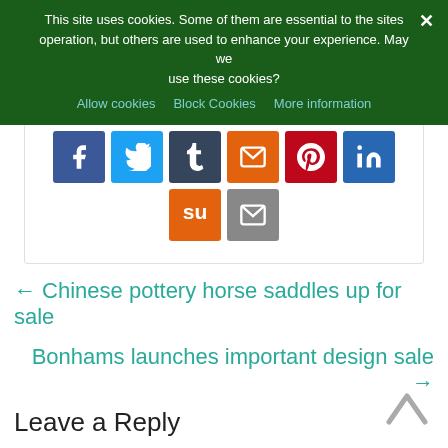This site uses cookies. Some of them are essential to the sites operation, but others are used to enhance your experience. May we use these cookies?
Allow cookies
Block Cookies
More information
[Figure (screenshot): Social sharing icons: Facebook (blue), Twitter (light blue), Tumblr (dark navy), Email (orange), Pinterest (red), LinkedIn (blue), StumbleUpon (orange), Email/Mail (grey)]
← Chinese pottery horse saddles up for sale
Bonhams launches important design sale →
Leave a Reply